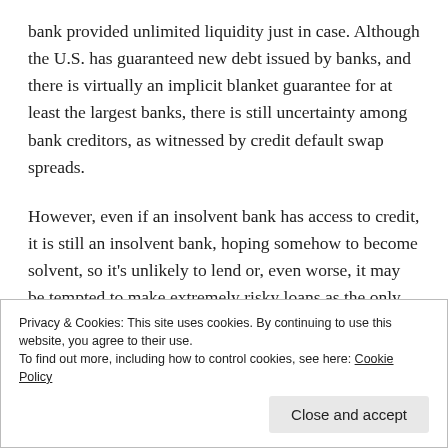bank provided unlimited liquidity just in case. Although the U.S. has guaranteed new debt issued by banks, and there is virtually an implicit blanket guarantee for at least the largest banks, there is still uncertainty among bank creditors, as witnessed by credit default swap spreads.
However, even if an insolvent bank has access to credit, it is still an insolvent bank, hoping somehow to become solvent, so it's unlikely to lend or, even worse, it may be tempted to make extremely risky loans as the only possible path to solvency. As a condition of government support, government auditors reviewed the balance
Privacy & Cookies: This site uses cookies. By continuing to use this website, you agree to their use.
To find out more, including how to control cookies, see here: Cookie Policy